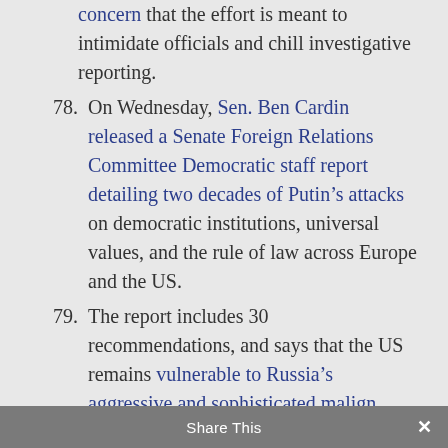contacts with the media. Experts raised concern that the effort is meant to intimidate officials and chill investigative reporting.
78. On Wednesday, Sen. Ben Cardin released a Senate Foreign Relations Committee Democratic staff report detailing two decades of Putin’s attacks on democratic institutions, universal values, and the rule of law across Europe and the US.
79. The report includes 30 recommendations, and says that the US remains vulnerable to Russia’s aggressive and sophisticated malign influence operations without unequivocal leadership from Trump.
Share This